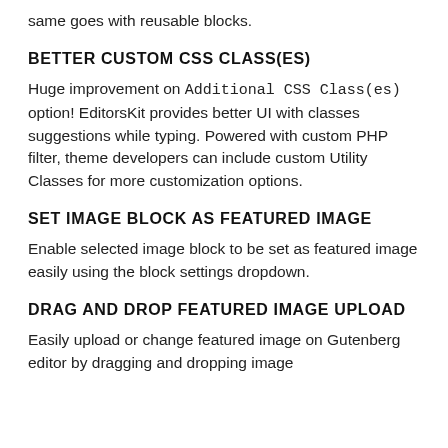same goes with reusable blocks.
BETTER CUSTOM CSS CLASS(ES)
Huge improvement on Additional CSS Class(es) option! EditorsKit provides better UI with classes suggestions while typing. Powered with custom PHP filter, theme developers can include custom Utility Classes for more customization options.
SET IMAGE BLOCK AS FEATURED IMAGE
Enable selected image block to be set as featured image easily using the block settings dropdown.
DRAG AND DROP FEATURED IMAGE UPLOAD
Easily upload or change featured image on Gutenberg editor by dragging and dropping image